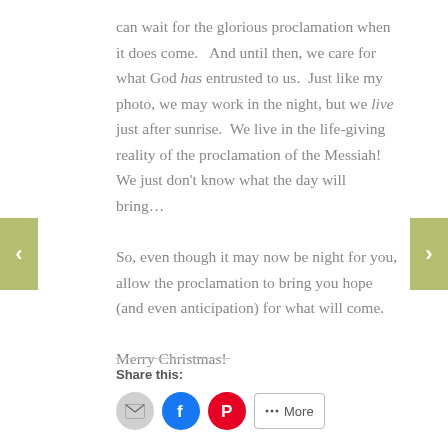can wait for the glorious proclamation when it does come.   And until then, we care for what God has entrusted to us.  Just like my photo, we may work in the night, but we live just after sunrise.  We live in the life-giving reality of the proclamation of the Messiah!  We just don't know what the day will bring…

So, even though it may now be night for you, allow the proclamation to bring you hope (and even anticipation) for what will come.

Merry Christmas!
Share this: